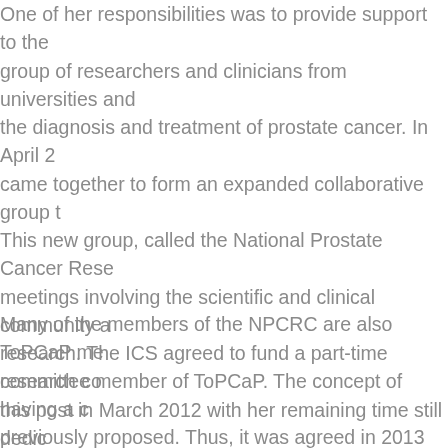One of her responsibilities was to provide support to the group of researchers and clinicians from universities and the diagnosis and treatment of prostate cancer. In April 2 came together to form an expanded collaborative group t This new group, called the National Prostate Cancer Rese meetings involving the scientific and clinical community a research. The ICS agreed to fund a part-time research co this post in March 2012 with her remaining time still dedic responsibilities. Her role with the NPCRC included strateg facilitating both funding applications and the implementat
Many of the members of the NPCRC are also ToPCaP me committee member of ToPCaP. The concept of having a c previously proposed. Thus, it was agreed in 2013 that the